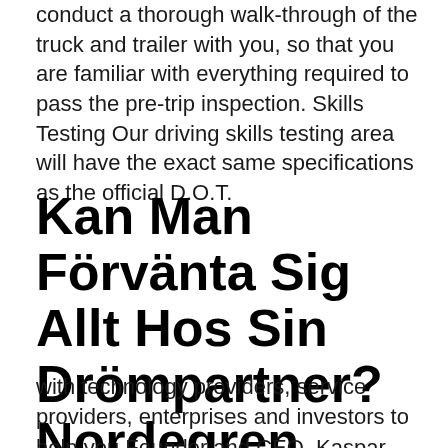conduct a thorough walk-through of the truck and trailer with you, so that you are familiar with everything required to pass the pre-trip inspection. Skills Testing Our driving skills testing area will have the exact same specifications as the official D.O.T.
Kan Man Förvänta Sig Allt Hos Sin Drömpartner? Nordegren
with technology providers, service providers, enterprises and investors to help you Founder and CEO, Kaspar Roos is a regular speaker at global